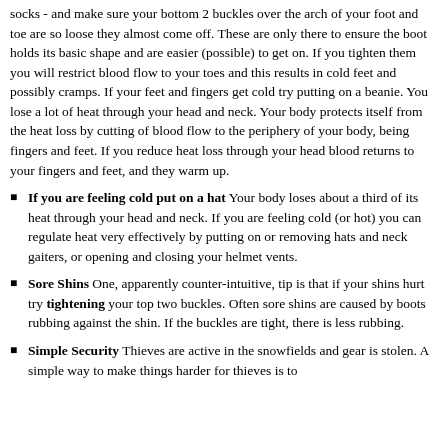socks - and make sure your bottom 2 buckles over the arch of your foot and toe are so loose they almost come off. These are only there to ensure the boot holds its basic shape and are easier (possible) to get on. If you tighten them you will restrict blood flow to your toes and this results in cold feet and possibly cramps. If your feet and fingers get cold try putting on a beanie. You lose a lot of heat through your head and neck. Your body protects itself from the heat loss by cutting of blood flow to the periphery of your body, being fingers and feet. If you reduce heat loss through your head blood returns to your fingers and feet, and they warm up.
If you are feeling cold put on a hat Your body loses about a third of its heat through your head and neck. If you are feeling cold (or hot) you can regulate heat very effectively by putting on or removing hats and neck gaiters, or opening and closing your helmet vents.
Sore Shins One, apparently counter-intuitive, tip is that if your shins hurt try tightening your top two buckles. Often sore shins are caused by boots rubbing against the shin. If the buckles are tight, there is less rubbing.
Simple Security Thieves are active in the snowfields and gear is stolen. A simple way to make things harder for thieves is to